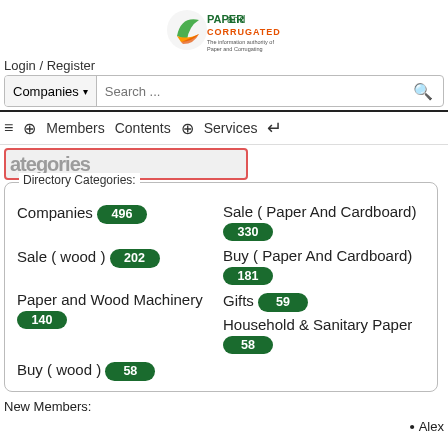[Figure (logo): Paper and Corrugated industry website logo with green leaf icon]
Login / Register
Companies ▾  Search ...  🔍
≡  ⊕  Members  Contents  ⊕  Services  ↵
Directory Categories:
Companies 496
Sale ( Paper And Cardboard) 330
Sale ( wood ) 202
Buy ( Paper And Cardboard) 181
Paper and Wood Machinery 140
Gifts 59
Household & Sanitary Paper 58
Buy ( wood ) 58
New Members:
• Alex